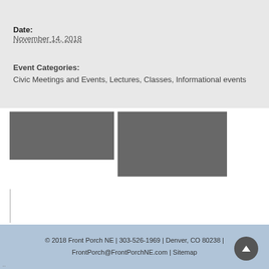DETAILS
Date:
November 14, 2018
Event Categories:
Civic Meetings and Events, Lectures, Classes, Informational events
[Figure (other): Two gray placeholder image blocks side by side]
© 2018 Front Porch NE | 303-526-1969 | Denver, CO 80238 | FrontPorch@FrontPorchNE.com | Sitemap